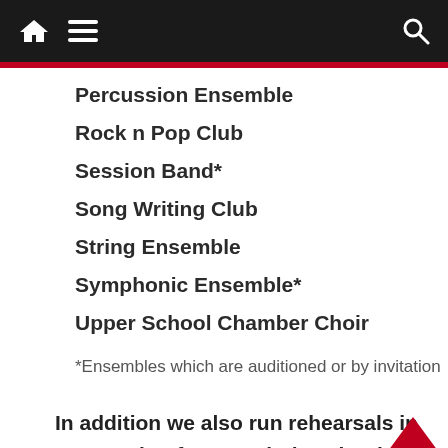Navigation bar with home, menu, and search icons
Percussion Ensemble
Rock n Pop Club
Session Band*
Song Writing Club
String Ensemble
Symphonic Ensemble*
Upper School Chamber Choir
*Ensembles which are auditioned or by invitation
In addition we also run rehearsals in preparation for our whole school musical performances in the Spring: